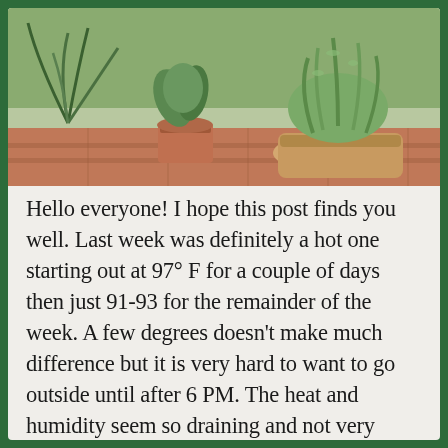[Figure (photo): Photograph of several potted plants arranged on brick steps outdoors. Plants include what appear to be succulents and leafy green plants in terracotta and beige pots.]
Hello everyone! I hope this post finds you well. Last week was definitely a hot one starting out at 97° F for a couple of days then just 91-93 for the remainder of the week. A few degrees doesn't make much difference but it is very hard to want to go outside until after 6 PM. The heat and humidity seem so draining and not very motivational. A few times I walked to the shed and then went back to the house. The crabgrass has taken over the yard but who wants to mow? I